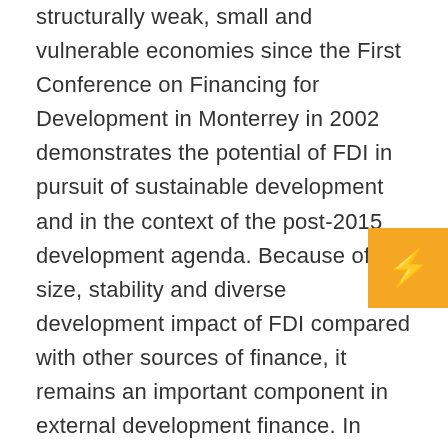structurally weak, small and vulnerable economies since the First Conference on Financing for Development in Monterrey in 2002 demonstrates the potential of FDI in pursuit of sustainable development and in the context of the post-2015 development agenda. Because of the size, stability and diverse development impact of FDI compared with other sources of finance, it remains an important component in external development finance. In particular, given its contribution to productive and export capacities, FDI plays a catalytic role for development in these economies, including in partnership with other sources of finance. A holistic approach – encompassing all